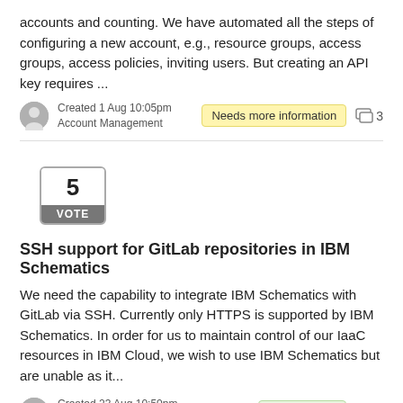accounts and counting. We have automated all the steps of configuring a new account, e.g., resource groups, access groups, access policies, inviting users. But creating an API key requires ...
Created 1 Aug 10:05pm
Account Management
Needs more information
3
5
VOTE
SSH support for GitLab repositories in IBM Schematics
We need the capability to integrate IBM Schematics with GitLab via SSH. Currently only HTTPS is supported by IBM Schematics. In order for us to maintain control of our IaaC resources in IBM Cloud, we wish to use IBM Schematics but are unable as it...
Created 23 Aug 10:50pm
Integration
Under review
0
1
VOTE